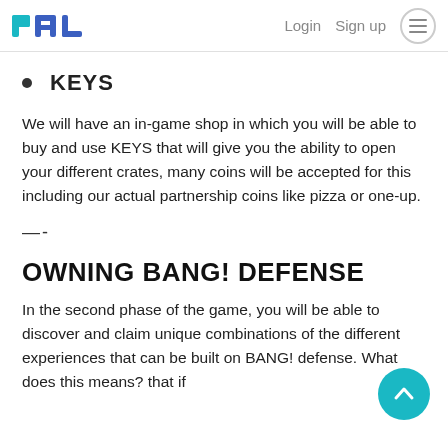PAL  Login  Sign up
KEYS
We will have an in-game shop in which you will be able to buy and use KEYS that will give you the ability to open your different crates, many coins will be accepted for this including our actual partnership coins like pizza or one-up.
—-
OWNING BANG! DEFENSE
In the second phase of the game, you will be able to discover and claim unique combinations of the different experiences that can be built on BANG! defense. What does this means? that if